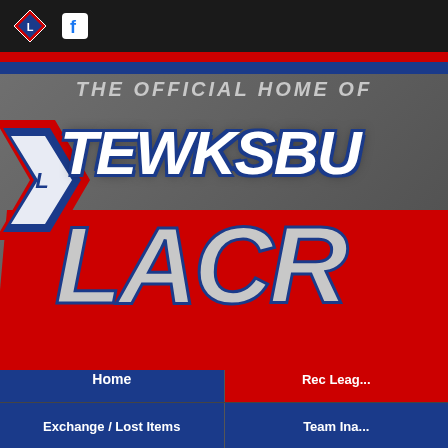Tewksbury Lacrosse website header navigation bar with logo icon and Facebook icon
[Figure (screenshot): Screenshot of the official Tewksbury Lacrosse website homepage showing the hero banner with 'THE OFFICIAL HOME OF' text above large stylized 'TEWKSBU...' and 'LACR...' team logo text in red, white, and blue colors on a gray background]
THE OFFICIAL HOME OF
TEWKSBURY LACROSSE
Home | Rec League | Exchange / Lost Items | Team Ina...